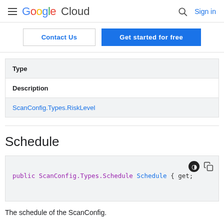Google Cloud  Sign in
Contact Us  Get started for free
| Type | Description |
| --- | --- |
| ScanConfig.Types.RiskLevel |  |
Schedule
public ScanConfig.Types.Schedule Schedule { get;
The schedule of the ScanConfig.